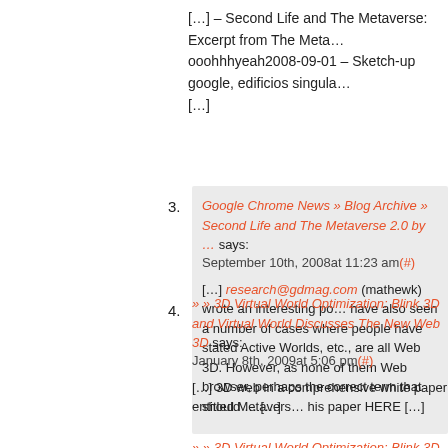[…] – Second Life and The Metaverse: Excerpt from The Meta… ooohhhyeah2008-09-01 – Sketch-up google, edificios singula… […]
3. Google Chrome News » Blog Archive » Second Life and The Metaverse 2.0 by … says: September 10th, 2008at 11:23 am(#) […] research@gdmag.com (mathewk) wrote an interesting po… have also seen a number of cases where people have stated Active Worlds, etc., are all Web 3D. However, as none of them Web browser, perhaps the correct term that should … […]
4. » » 3D Virtual World Optimization: Blink 3D and Virtual World Discusses The New Web 3D says: January 8th, 2009at 5:06 pm(#) […] 3D web in a comprehensive white paper entitled Metavers… his paper HERE […]